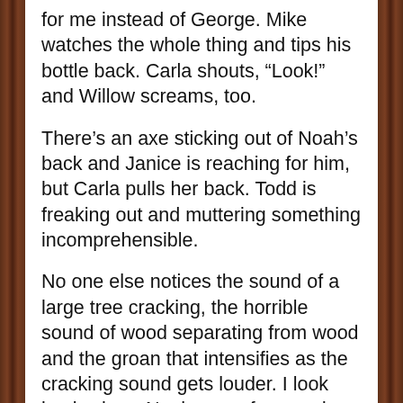for me instead of George. Mike watches the whole thing and tips his bottle back. Carla shouts, “Look!” and Willow screams, too.
There’s an axe sticking out of Noah’s back and Janice is reaching for him, but Carla pulls her back. Todd is freaking out and muttering something incomprehensible.
No one else notices the sound of a large tree cracking, the horrible sound of wood separating from wood and the groan that intensifies as the cracking sound gets louder. I look back where Noah came from and there is a figure silhouetted against the night sky, wearing a flat-brimmed ranger’s hat.
Branches are breaking and there’s a shadow over us all.